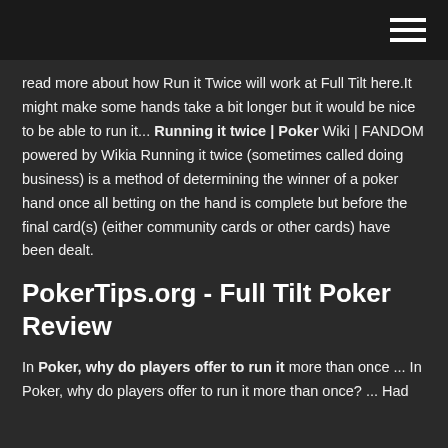[hamburger menu icon]
read more about how Run it Twice will work at Full Tilt here.It might make some hands take a bit longer but it would be nice to be able to run it... Running it twice | Poker Wiki | FANDOM powered by Wikia Running it twice (sometimes called doing business) is a method of determining the winner of a poker hand once all betting on the hand is complete but before the final card(s) (either community cards or other cards) have been dealt.
PokerTips.org - Full Tilt Poker Review
In Poker, why do players offer to run it more than once ... In Poker, why do players offer to run it more than once? ... Had